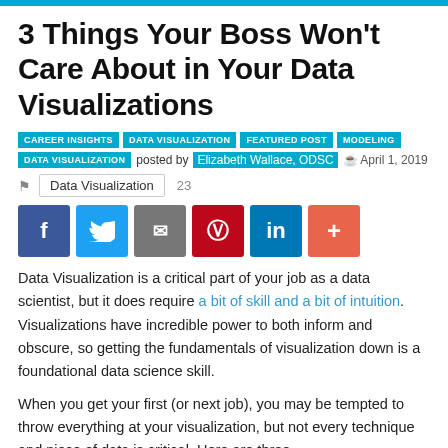3 Things Your Boss Won't Care About in Your Data Visualizations
CAREER INSIGHTS  DATA VISUALIZATION  FEATURED POST  MODELING  DATA VISUALIZATION  posted by Elizabeth Wallace, ODSC  April 1, 2019
Data Visualization 23
[Figure (infographic): Social sharing buttons: Facebook (blue), Twitter (light blue), Email (gray), Pinterest (red), LinkedIn (blue), plus/more (orange-red)]
Data Visualization is a critical part of your job as a data scientist, but it does require a bit of skill and a bit of intuition. Visualizations have incredible power to both inform and obscure, so getting the fundamentals of visualization down is a foundational data science skill.
When you get your first (or next job), you may be tempted to throw everything at your visualization, but not every technique and piece of data is critical. Here are three